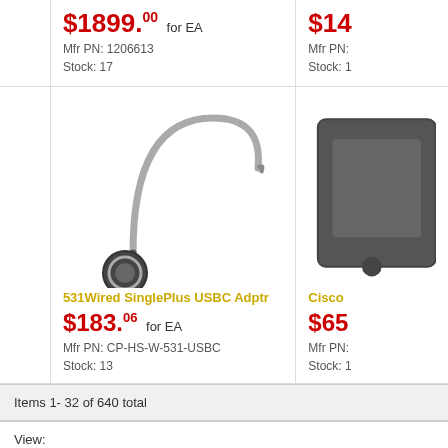$1899.00 for EA
Mfr PN: 1206613
Stock: 17
$14... for EA
Mfr PN: ...
Stock: 1...
[Figure (photo): Single-ear wired headset with microphone boom arm and circular ear cup]
Cisco (partial)
531Wired SinglePlus USBC Adptr
$183.06 for EA
Mfr PN: CP-HS-W-531-USBC
Stock: 13
$65... for EA
Mfr PN: ...
Stock: 1...
Items 1- 32 of 640 total
View: